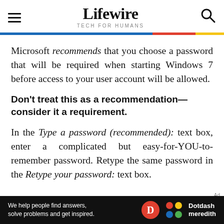Lifewire — TECH FOR HUMANS
Microsoft recommends that you choose a password that will be required when starting Windows 7 before access to your user account will be allowed.
Don't treat this as a recommendation—consider it a requirement.
In the Type a password (recommended): text box, enter a complicated but easy-for-YOU-to-remember password. Retype the same password in the Retype your password: text box.